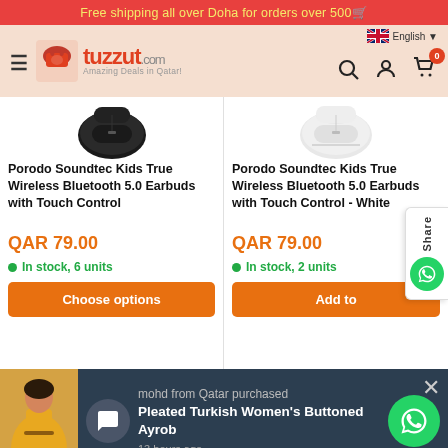Free shipping all over Doha for orders over 500
[Figure (screenshot): tuzzut.com logo with shopping bag icon and text 'Amazing Deals in Qatar!']
Porodo Soundtec Kids True Wireless Bluetooth 5.0 Earbuds with Touch Control
QAR 79.00
In stock, 6 units
Choose options
Porodo Soundtec Kids True Wireless Bluetooth 5.0 Earbuds with Touch Control - White
QAR 79.00
In stock, 2 units
Add to
mohd from Qatar purchased
Pleated Turkish Women's Buttoned Ayrob
13 hours ago